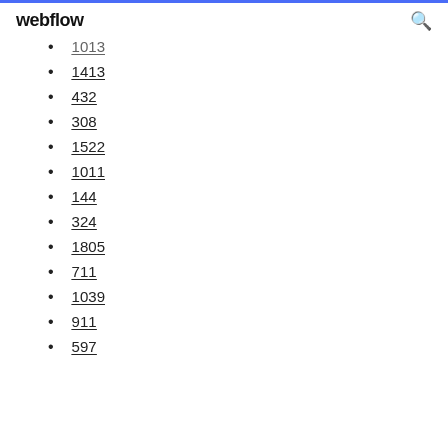webflow
1013 (partial)
1413
432
308
1522
1011
144
324
1805
711
1039
911
597